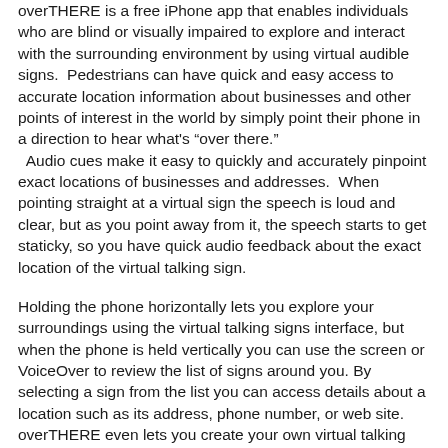overTHERE is a free iPhone app that enables individuals who are blind or visually impaired to explore and interact with the surrounding environment by using virtual audible signs. Pedestrians can have quick and easy access to accurate location information about businesses and other points of interest in the world by simply point their phone in a direction to hear what's "over there." Audio cues make it easy to quickly and accurately pinpoint exact locations of businesses and addresses. When pointing straight at a virtual sign the speech is loud and clear, but as you point away from it, the speech starts to get staticky, so you have quick audio feedback about the exact location of the virtual talking sign.
Holding the phone horizontally lets you explore your surroundings using the virtual talking signs interface, but when the phone is held vertically you can use the screen or VoiceOver to review the list of signs around you. By selecting a sign from the list you can access details about a location such as its address, phone number, or web site. overTHERE even lets you create your own virtual talking signs, so you can mark special locations that might otherwise be